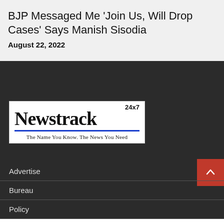BJP Messaged Me 'Join Us, Will Drop Cases' Says Manish Sisodia
August 22, 2022
[Figure (logo): Newstrack 24x7 logo — 'The Name You Know. The News You Need']
Advertise
Bureau
Policy